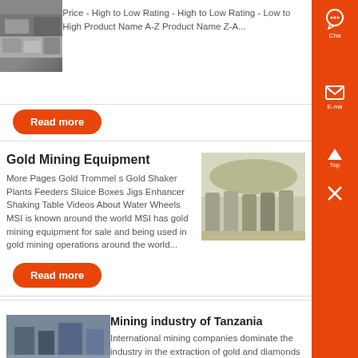Price - High to Low Rating - High to Low Rating - Low to High Product Name A-Z Product Name Z-A...
[Figure (photo): Partial view of mining equipment or industrial site thumbnail, top-left]
Read more
Gold Mining Equipment
More Pages Gold Trommel s Gold Shaker Plants Feeders Sluice Boxes Jigs Enhancer Shaking Table Videos About Water Wheels MSI is known around the world MSI has gold mining equipment for sale and being used in gold mining operations around the world...
[Figure (photo): Aerial photo of gold mining processing plant in arid terrain]
Read more
[Figure (photo): Close-up photo of electrical panel or control equipment]
Mining industry of Tanzania
International mining companies dominate the industry in the extraction of gold and diamonds with additional small scale mining operations